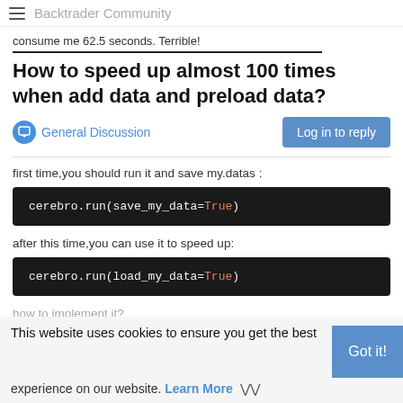Backtrader Community
consume me 62.5 seconds. Terrible!
How to speed up almost 100 times when add data and preload data?
General Discussion
Log in to reply
first time,you should run it and save my.datas :
cerebro.run(save_my_data=True)
after this time,you can use it to speed up:
cerebro.run(load_my_data=True)
how to implement it?
you should add a function load_my_data_from_pickle to ce
This website uses cookies to ensure you get the best experience on our website. Learn More
Got it!